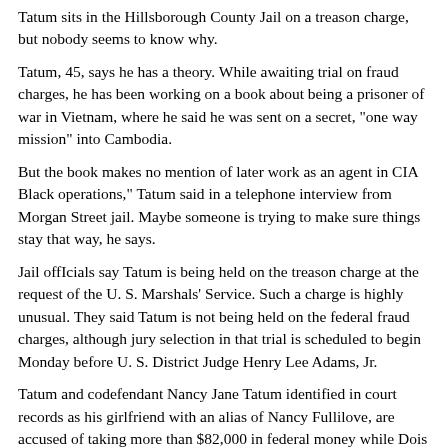Tatum sits in the Hillsborough County Jail on a treason charge, but nobody seems to know why.
Tatum, 45, says he has a theory. While awaiting trial on fraud charges, he has been working on a book about being a prisoner of war in Vietnam, where he said he was sent on a secret, "one way mission" into Cambodia.
But the book makes no mention of later work as an agent in CIA Black operations," Tatum said in a telephone interview from Morgan Street jail. Maybe someone is trying to make sure things stay that way, he says.
Jail offIcials say Tatum is being held on the treason charge at the request of the U. S. Marshals' Service. Such a charge is highly unusual. They said Tatum is not being held on the federal fraud charges, although jury selection in that trial is scheduled to begin Monday before U. S. District Judge Henry Lee Adams, Jr.
Tatum and codefendant Nancy Jane Tatum identified in court records as his girlfriend with an alias of Nancy Fullilove, are accused of taking more than $82,000 in federal money while Dois Tatum operated a government-seized Hudson golf course.
Deputy U.S. Marshal David Jacobs, in charge of federal prisoners in Tampa, said his records show Tatum is in custody solely on the